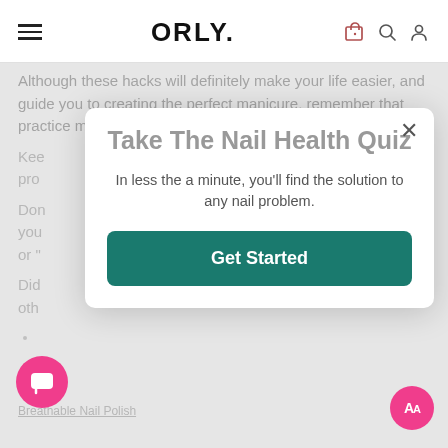ORLY.
Although these hacks will definitely make your life easier, and guide you to creating the perfect manicure, remember that practice makes perfect.
Kee... pro...
Don... you... or "...
Did... oth...
[Figure (screenshot): Modal popup overlay on ORLY website with title 'Take The Nail Health Quiz', description text 'In less the a minute, you'll find the solution to any nail problem.' and a teal 'Get Started' button.]
Breathable Nail Polish